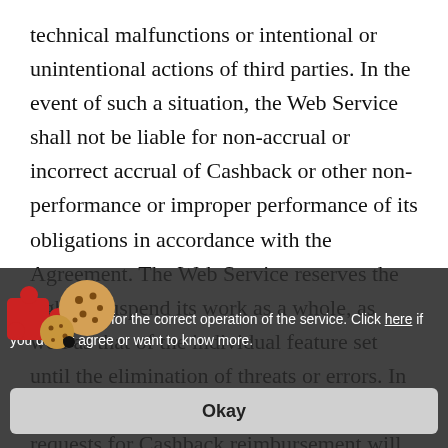technical malfunctions or intentional or unintentional actions of third parties. In the event of such a situation, the Web Service shall not be liable for non-accrual or incorrect accrual of Cashback or other non-performance or improper performance of its obligations in accordance with the Agreement. The Web Service reserves the right to suspend its work as a whole, as well as that of the individual feature set until the elimination of threats or errors. In all cases of the Web Service failure, requests for Cashback reimbursement will not be considered. The Web Service reserves the right to cancel transactions that were carried out during the Web Service failure, if there are objective reasons or suspicions of a possible fraud or error. The Web Service shall make all reasonable efforts to resolve the technical problems that have arisen within a reasonable time period.
We use cookies for the correct operation of the service. Click here if you do not agree or want to know more.
Okay